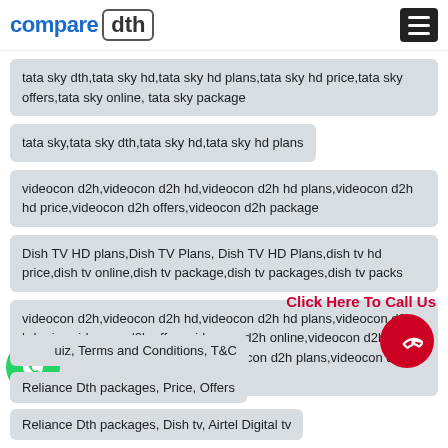compare dth
tata sky dth,tata sky hd,tata sky hd plans,tata sky hd price,tata sky offers,tata sky online, tata sky package
tata sky,tata sky dth,tata sky hd,tata sky hd plans
videocon d2h,videocon d2h hd,videocon d2h hd plans,videocon d2h hd price,videocon d2h offers,videocon d2h package
Dish TV HD plans,Dish TV Plans, Dish TV HD Plans,dish tv hd price,dish tv online,dish tv package,dish tv packages,dish tv packs
videocon d2h,videocon d2h hd,videocon d2h hd plans,videocon d2h hd price,videocon d2h offers,videocon d2h online,videocon d2h package,videocon d2h packages,videocon d2h plans,videocon d2h price,videocon dth
uiz, Terms and Conditions, T&C
Reliance Dth packages, Price, Offers
Reliance Dth packages, Dish tv, Airtel Digital tv